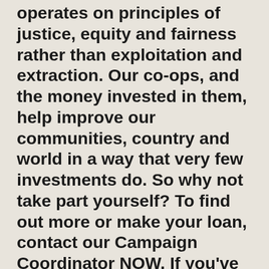operates on principles of justice, equity and fairness rather than exploitation and extraction. Our co-ops, and the money invested in them, help improve our communities, country and world in a way that very few investments do. So why not take part yourself? To find out more or make your loan, contact our Campaign Coordinator NOW. If you've already made your loan, thank you so much!
Jessica, Campaign Coordinator